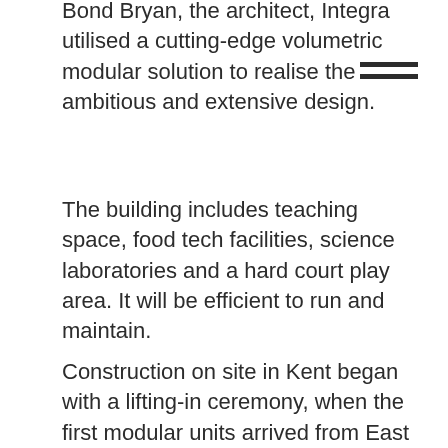Bond Bryan, the architect, Integra utilised a cutting-edge volumetric modular solution to realise the ambitious and extensive design.
The building includes teaching space, food tech facilities, science laboratories and a hard court play area. It will be efficient to run and maintain.
Construction on site in Kent began with a lifting-in ceremony, when the first modular units arrived from East Yorkshire, in January. The coronavirus outbreak, and the imposition of the national lockdown in March, provided a huge additional challenge, but after extensive safety measures were introduced, work was able to continue, and the school was completed in September.